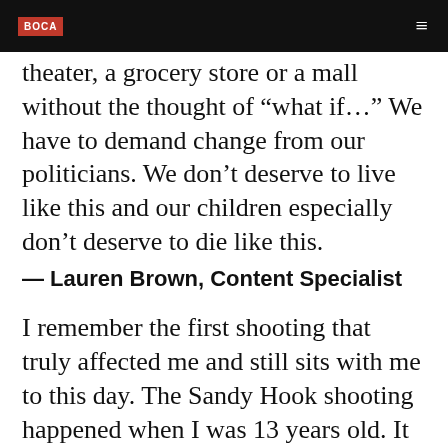BOCA
around me that appears to behave unusually, I cannot enter a movie theater, a grocery store or a mall without the thought of "what if…" We have to demand change from our politicians. We don't deserve to live like this and our children especially don't deserve to die like this.
— Lauren Brown, Content Specialist
I remember the first shooting that truly affected me and still sits with me to this day. The Sandy Hook shooting happened when I was 13 years old. It was the first time I was old enough to really comprehend